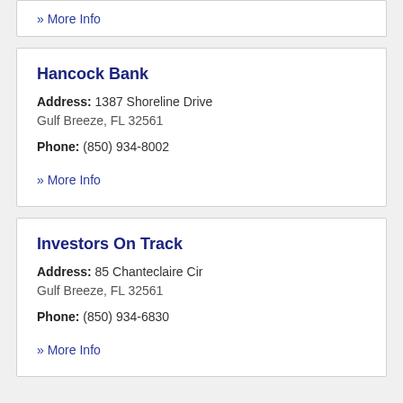» More Info
Hancock Bank
Address: 1387 Shoreline Drive
Gulf Breeze, FL 32561
Phone: (850) 934-8002
» More Info
Investors On Track
Address: 85 Chanteclaire Cir
Gulf Breeze, FL 32561
Phone: (850) 934-6830
» More Info